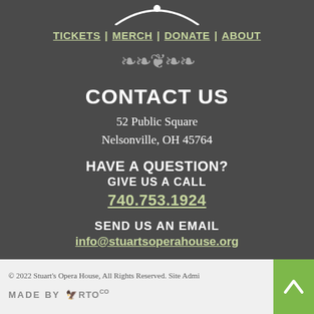[Figure (logo): Partial logo arc at the top of the dark section]
TICKETS | MERCH | DONATE | ABOUT
[Figure (illustration): Decorative ornamental divider]
CONTACT US
52 Public Square
Nelsonville, OH 45764
HAVE A QUESTION?
GIVE US A CALL
740.753.1924
SEND US AN EMAIL
info@stuartsoperahouse.org
© 2022 Stuart's Opera House, All Rights Reserved. Site Admi...
[Figure (logo): MADE BY RTO Co logo in footer]